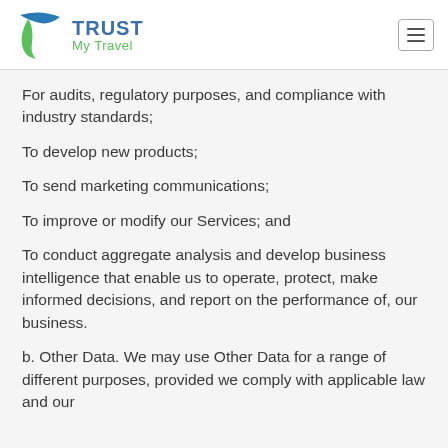Trust My Travel
For audits, regulatory purposes, and compliance with industry standards;
To develop new products;
To send marketing communications;
To improve or modify our Services; and
To conduct aggregate analysis and develop business intelligence that enable us to operate, protect, make informed decisions, and report on the performance of, our business.
b. Other Data. We may use Other Data for a range of different purposes, provided we comply with applicable law and our